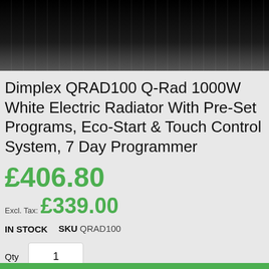[Figure (photo): Dark header banner with vertical stripe texture, black gradient background]
Dimplex QRAD100 Q-Rad 1000W White Electric Radiator With Pre-Set Programs, Eco-Start & Touch Control System, 7 Day Programmer
£406.80
Excl. Tax: £339.00
IN STOCK   SKU  QRAD100
Qty  1